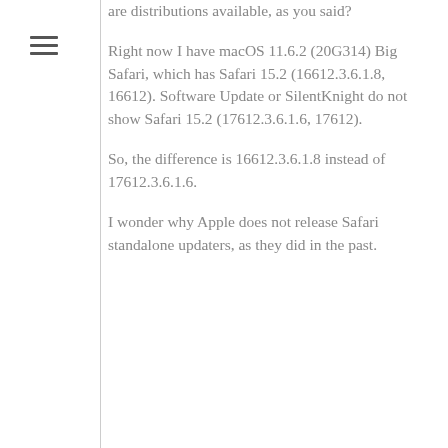[Figure (other): Hamburger menu icon (three horizontal lines) in the left sidebar]
are distributions available, as you said?
Right now I have macOS 11.6.2 (20G314) Big Safari, which has Safari 15.2 (16612.3.6.1.8, 16612). Software Update or SilentKnight do not show Safari 15.2 (17612.3.6.1.6, 17612).
So, the difference is 16612.3.6.1.8 instead of 17612.3.6.1.6.
I wonder why Apple does not release Safari standalone updaters, as they did in the past.